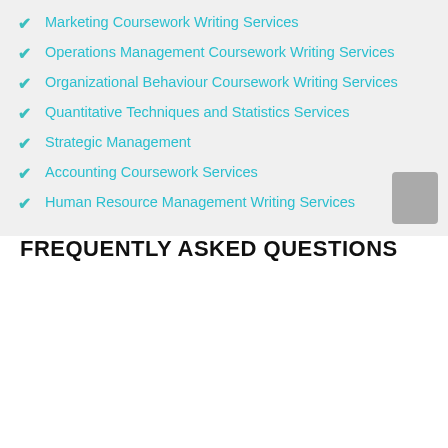Marketing Coursework Writing Services
Operations Management Coursework Writing Services
Organizational Behaviour Coursework Writing Services
Quantitative Techniques and Statistics Services
Strategic Management
Accounting Coursework Services
Human Resource Management Writing Services
FREQUENTLY ASKED QUESTIONS